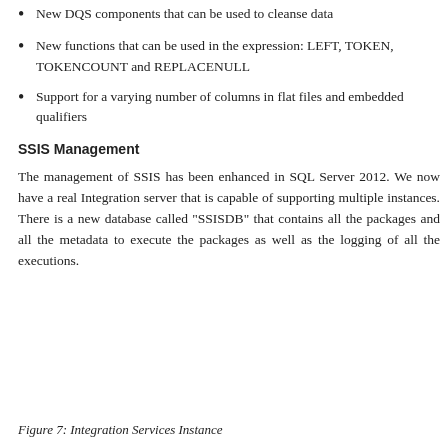New DQS components that can be used to cleanse data
New functions that can be used in the expression: LEFT, TOKEN, TOKENCOUNT and REPLACENULL
Support for a varying number of columns in flat files and embedded qualifiers
SSIS Management
The management of SSIS has been enhanced in SQL Server 2012. We now have a real Integration server that is capable of supporting multiple instances. There is a new database called "SSISDB" that contains all the packages and all the metadata to execute the packages as well as the logging of all the executions.
Figure 7: Integration Services Instance